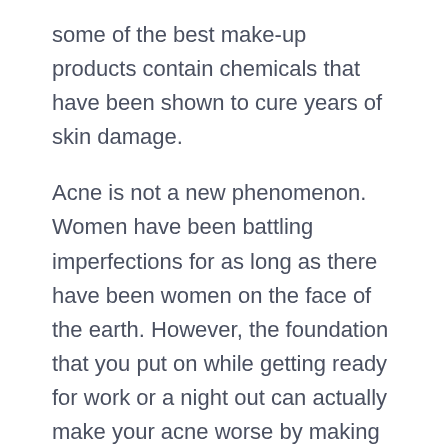some of the best make-up products contain chemicals that have been shown to cure years of skin damage.
Acne is not a new phenomenon. Women have been battling imperfections for as long as there have been women on the face of the earth. However, the foundation that you put on while getting ready for work or a night out can actually make your acne worse by making it more visible. Since you were a child, the cosmetics business has been employing the same type of chemical, and regrettably, the situation is only growing worse.
When selecting a foundation, it is important to examine your skin type and choose a brand that is appropriate for your needs. You should choose a